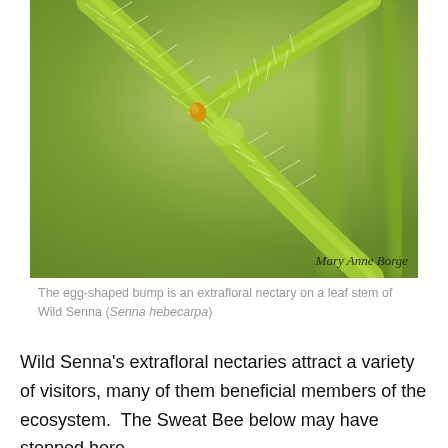[Figure (photo): Close-up macro photograph of green hairy plant stems (Wild Senna) with a small egg-shaped orange/yellow extrafloral nectary bump visible on the main stem. The background is a blurred green. Photographer credit 'Mary Anne Borge' appears in the lower right corner of the photo in cursive/handwriting-style font.]
The egg-shaped bump is an extrafloral nectary on a leaf stem of Wild Senna (Senna hebecarpa)
Wild Senna's extrafloral nectaries attract a variety of visitors, many of them beneficial members of the ecosystem.  The Sweat Bee below may have stopped here